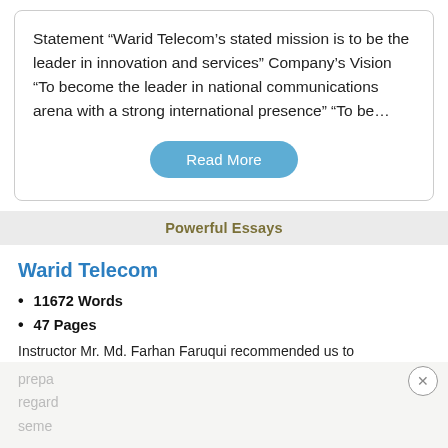Statement “Warid Telecom’s stated mission is to be the leader in innovation and services” Company’s Vision “To become the leader in national communications arena with a strong international presence” “To be…
[Figure (other): Read More button (rounded blue pill button)]
Powerful Essays
Warid Telecom
11672 Words
47 Pages
Instructor Mr. Md. Farhan Faruqui recommended us to
prepa
regard
seme…
[Figure (other): Walgreens advertisement: Your One Stop Vitamin Shop, Walgreens Photo, with Walgreens cursive logo and blue diamond arrow icon]